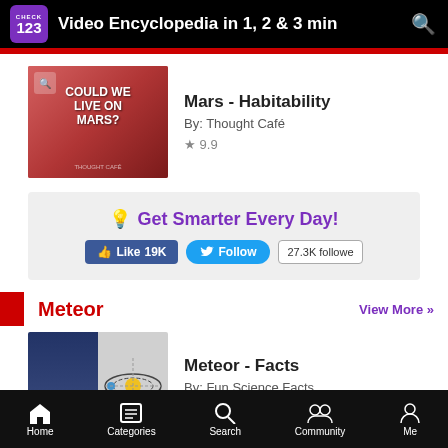Video Encyclopedia in 1, 2 & 3 min
[Figure (screenshot): Thumbnail for Mars - Habitability video showing cartoon character with text 'COULD WE LIVE ON MARS?']
Mars - Habitability
By: Thought Café
★ 9.9
[Figure (infographic): Get Smarter Every Day! banner with Facebook Like 19K button, Twitter Follow button, and 27.3K followers count]
Meteor
View More »
[Figure (screenshot): Thumbnail for Meteor - Facts video showing hand and atom diagram]
Meteor - Facts
By: Fun Science Facts
★ 9.1
Home  Categories  Search  Community  Me